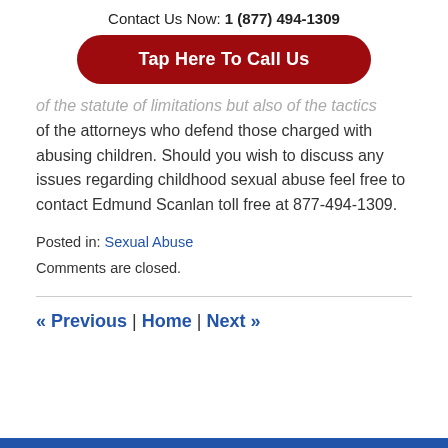Contact Us Now: 1 (877) 494-1309
[Figure (other): Red rounded button with white bold text reading 'Tap Here To Call Us']
of the statute of limitations but also of the tactics of the attorneys who defend those charged with abusing children. Should you wish to discuss any issues regarding childhood sexual abuse feel free to contact Edmund Scanlan toll free at 877-494-1309.
Posted in: Sexual Abuse
Comments are closed.
« Previous | Home | Next »